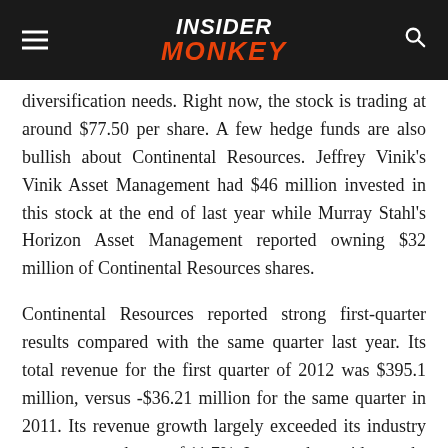INSIDER MONKEY
diversification needs. Right now, the stock is trading at around $77.50 per share. A few hedge funds are also bullish about Continental Resources. Jeffrey Vinik's Vinik Asset Management had $46 million invested in this stock at the end of last year while Murray Stahl's Horizon Asset Management reported owning $32 million of Continental Resources shares.
Continental Resources reported strong first-quarter results compared with the same quarter last year. Its total revenue for the first quarter of 2012 was $395.1 million, versus -$36.21 million for the same quarter in 2011. Its revenue growth largely exceeded its industry average growth rate of 11.7%. In turn, the rapid growth